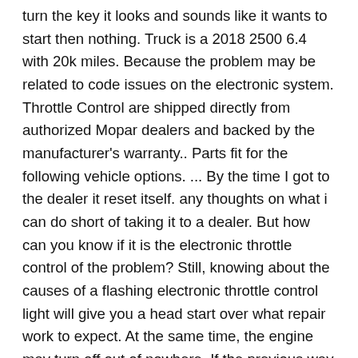turn the key it looks and sounds like it wants to start then nothing. Truck is a 2018 2500 6.4 with 20k miles. Because the problem may be related to code issues on the electronic system. Throttle Control are shipped directly from authorized Mopar dealers and backed by the manufacturer's warranty.. Parts fit for the following vehicle options. ... By the time I got to the dealer it reset itself. any thoughts on what i can do short of taking it to a dealer. But how can you know if it is the electronic throttle control of the problem? Still, knowing about the causes of a flashing electronic throttle control light will give you a head start over what repair work to expect. At the same time, the engine may turn off out of nowhere. If the previous way doesn't work, another thing you can do is to get the ETC and sensors out of the truck. The engine then suddenly drops to ... A cheap model can be as little as $100 or even less. Well, there are actually a few ways to know that. You may still find these tips worth